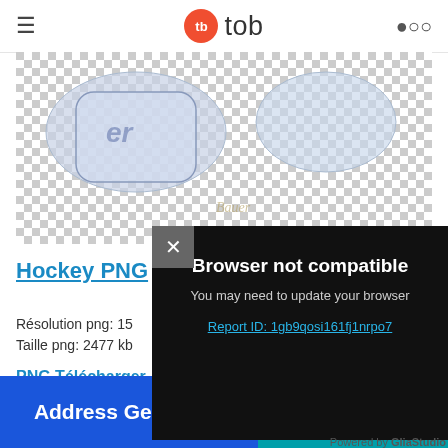tb tob (header navigation bar with logo, menu icon, and search icon)
[Figure (photo): Hockey goalie equipment (Bauer brand) on a transparent checkerboard background showing pads and glove]
Hockey PNG
Résolution png: 15...
Taille png: 2477 kb
PNG Télécharger
[Figure (screenshot): Browser not compatible modal dialog on dark background with close button (×). Text: Browser not compatible. You may need to update your browser. Report ID: 1gb9qosi161fj1nrpo7. Powered by GliaStudio]
Address Generator
Cool Text Generator